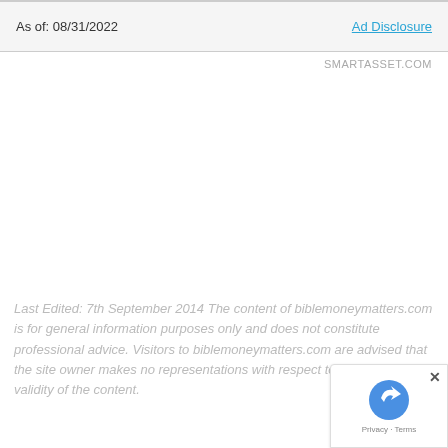As of: 08/31/2022   Ad Disclosure
SMARTASSET.COM
Last Edited: 7th September 2014 The content of biblemoneymatters.com is for general information purposes only and does not constitute professional advice. Visitors to biblemoneymatters.com are advised that the site owner makes no representations with respect to the accuracy or validity of the content.
[Figure (logo): reCAPTCHA badge with arrow logo and Privacy + Terms text, with an X close button]